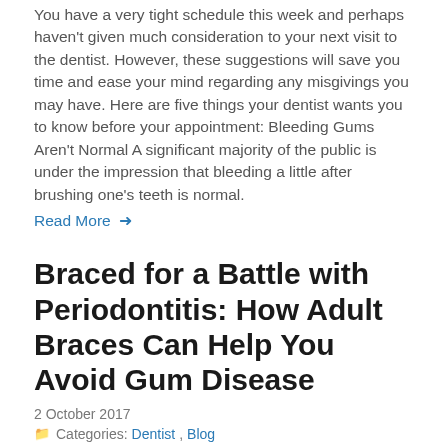You have a very tight schedule this week and perhaps haven't given much consideration to your next visit to the dentist. However, these suggestions will save you time and ease your mind regarding any misgivings you may have. Here are five things your dentist wants you to know before your appointment: Bleeding Gums Aren't Normal A significant majority of the public is under the impression that bleeding a little after brushing one's teeth is normal.
Read More →
Braced for a Battle with Periodontitis: How Adult Braces Can Help You Avoid Gum Disease
2 October 2017
Categories: Dentist, Blog
If you, like 62% of Australian adults, would like to do something about your crooked smile, what are you waiting for? Your appearance doesn't need to suffer because there are at least 3 types of brace that are all but invisible, ceramic braces, Invisalign, and lingual (back of teeth)